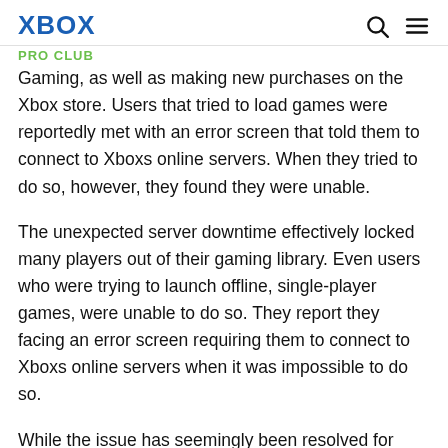XBOX
PRO CLUB
Gaming, as well as making new purchases on the Xbox store. Users that tried to load games were reportedly met with an error screen that told them to connect to Xboxs online servers. When they tried to do so, however, they found they were unable.
The unexpected server downtime effectively locked many players out of their gaming library. Even users who were trying to launch offline, single-player games, were unable to do so. They report they facing an error screen requiring them to connect to Xboxs online servers when it was impossible to do so.
While the issue has seemingly been resolved for some console owners, many are still reporting problems connecting to Xbox servers and loading their game launch…